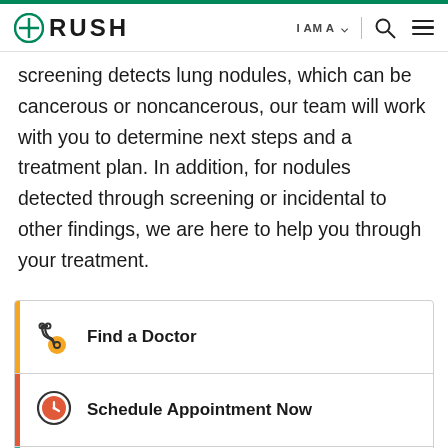RUSH | I AM A | [search] [menu]
screening detects lung nodules, which can be cancerous or noncancerous, our team will work with you to determine next steps and a treatment plan. In addition, for nodules detected through screening or incidental to other findings, we are here to help you through your treatment.
Find a Doctor
Schedule Appointment Now
Find a Location